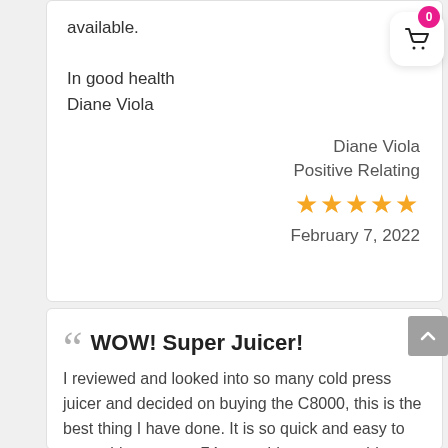available.
In good health
Diane Viola
Diane Viola
Positive Relating
★★★★★
February 7, 2022
WOW! Super Juicer!
I reviewed and looked into so many cold press juicer and decided on buying the C8000, this is the best thing I have done. It is so quick and easy to assemble even my 74 year old mum was able to